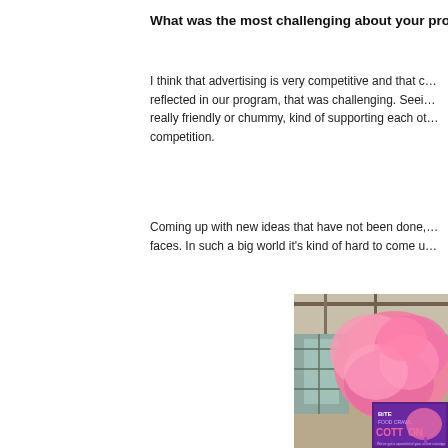What was the most challenging about your prog...
I think that advertising is very competitive and that c... reflected in our program, that was challenging. Seei... really friendly or chummy, kind of supporting each ot... competition.
Coming up with new ideas that have not been done,... faces. In such a big world it's kind of hard to come u...
[Figure (photo): Photo showing a large pink cotton candy puff in an indoor setting, with a purple promotional poster for 'BITE FOOD CRAWL - COTTON' visible in the lower right portion of the image.]